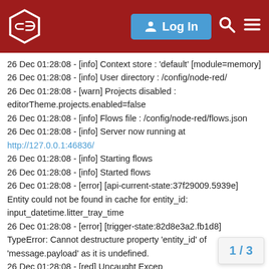Node-RED forum header with logo, Log In button, search and menu icons
26 Dec 01:28:08 - [info] Context store : 'default' [module=memory]
26 Dec 01:28:08 - [info] User directory : /config/node-red/
26 Dec 01:28:08 - [warn] Projects disabled : editorTheme.projects.enabled=false
26 Dec 01:28:08 - [info] Flows file : /config/node-red/flows.json
26 Dec 01:28:08 - [info] Server now running at http://127.0.0.1:46836/
26 Dec 01:28:08 - [info] Starting flows
26 Dec 01:28:08 - [info] Started flows
26 Dec 01:28:08 - [error] [api-current-state:37f29009.5939e] Entity could not be found in cache for entity_id: input_datetime.litter_tray_time
26 Dec 01:28:08 - [error] [trigger-state:82d8e3a2.fb1d8] TypeError: Cannot destructure property 'entity_id' of 'message.payload' as it is undefined.
26 Dec 01:28:08 - [red] Uncaught Excep
26 Dec 01:28:08 - [error] Error: Philips H
1 / 3